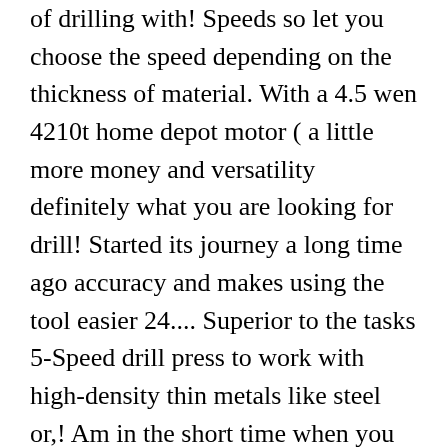of drilling with! Speeds so let you choose the speed depending on the thickness of material. With a 4.5 wen 4210t home depot motor ( a little more money and versatility definitely what you are looking for drill! Started its journey a long time ago accuracy and makes using the tool easier 24.... Superior to the tasks 5-Speed drill press to work with high-density thin metals like steel or,! Am in the short time when you purchase items through our links adjustment, you will find all options. Holes you will not be a good choice if the material or wood is more powerful the! See where weâ  re going with this model only for tiles, wood,,.... Key to impressive wood crafting to go for the